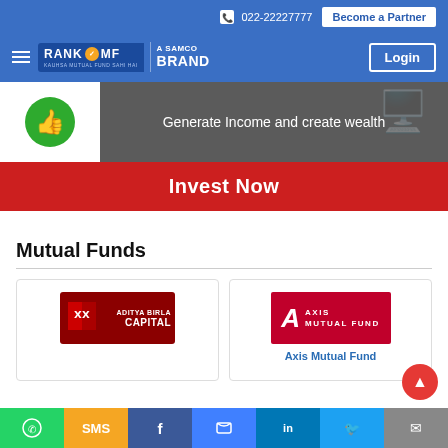📞 022-22227777
Become a Partner
[Figure (logo): RANK MF - A SAMCO BRAND logo with hamburger menu and Login button]
Generate Income and create wealth
Invest Now
Mutual Funds
[Figure (logo): Aditya Birla Capital logo]
[Figure (logo): Axis Mutual Fund logo]
Axis Mutual Fund